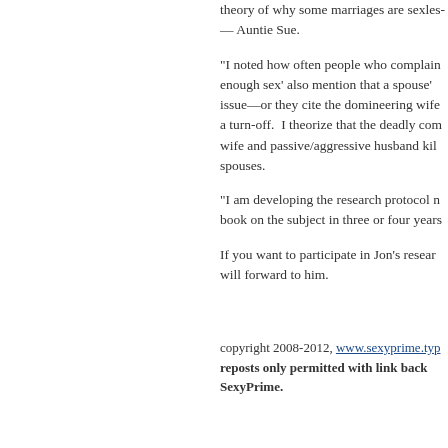theory of why some marriages are sexless — Auntie Sue.
“I noted how often people who complain about ‘not enough sex’ also mention that a spouse’s weight is an issue—or they cite the domineering wife as a turn-off.  I theorize that the deadly combo of domineering wife and passive/aggressive husband kills desire in both spouses.
“I am developing the research protocol now and hope to write a book on the subject in three or four years.
If you want to participate in Jon’s research, email me and I will forward to him.
copyright 2008-2012, www.sexyprime.typ… reposts only permitted with link back to SexyPrime.